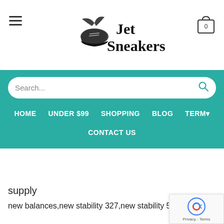[Figure (logo): Jet Sneakers logo with winged shoe icon and text 'Jet Sneakers']
[Figure (other): Shopping cart icon with '0' count in top right corner]
Search...
HOME   UNDER $99   SHOPPING   BLOG   TERM   CONTACT US
supply
new balances,new stability 327,new stability 550,new